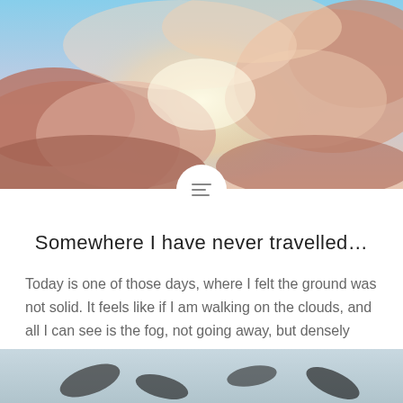[Figure (photo): Dramatic sky with pink and golden clouds viewed from above, with bright sunlight breaking through]
Somewhere I have never travelled…
Today is one of those days, where I felt the ground was not solid. It feels like if I am walking on the clouds, and all I can see is the fog, not going away, but densely descending. Then, as if a sort of a calling came to me, I went to my closet and…
READ MORE
[Figure (photo): Partial view of another image at the bottom of the page, showing dark scattered elements on a lighter background]